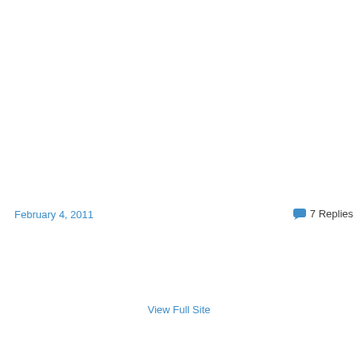February 4, 2011
7 Replies
View Full Site